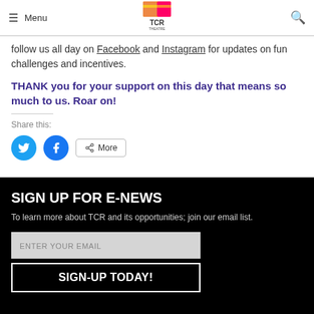Menu | TCR Theatre | Search
follow us all day on Facebook and Instagram for updates on fun challenges and incentives.
THANK you for your support on this day that means so much to us. Roar on!
Share this:
[Figure (infographic): Twitter share button (blue circle with bird icon), Facebook share button (blue circle with f icon), and a More button with share icon]
SIGN UP FOR E-NEWS
To learn more about TCR and its opportunities; join our email list.
ENTER YOUR EMAIL
SIGN-UP TODAY!